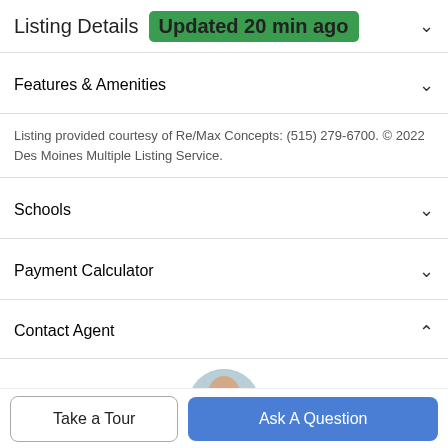Listing Details Updated 20 min ago
Features & Amenities
Listing provided courtesy of Re/Max Concepts: (515) 279-6700. © 2022 Des Moines Multiple Listing Service.
Schools
Payment Calculator
Contact Agent
[Figure (photo): Agent profile photo — bald man with facial hair in circular crop]
Take a Tour
Ask A Question